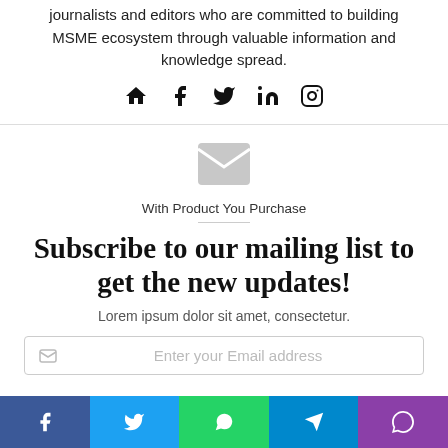journalists and editors who are committed to building MSME ecosystem through valuable information and knowledge spread.
[Figure (infographic): Social media icons: home, facebook, twitter, linkedin, instagram]
[Figure (infographic): Envelope/mail icon (gray)]
With Product You Purchase
Subscribe to our mailing list to get the new updates!
Lorem ipsum dolor sit amet, consectetur.
Enter your Email address
[Figure (infographic): Social share bar with icons: Facebook, Twitter, WhatsApp, Telegram, Viber]